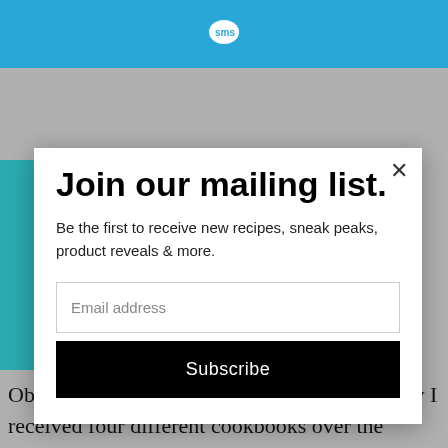[Figure (logo): SMS speech bubble logo in white on blue header bar]
Join our mailing list.
Be the first to receive new recipes, sneak peaks, product reveals & more.
Email address
Subscribe
Oviously, my family does too, and that is why I received four different cookbooks over the holidays. All great, all good recipes, all good reading material.